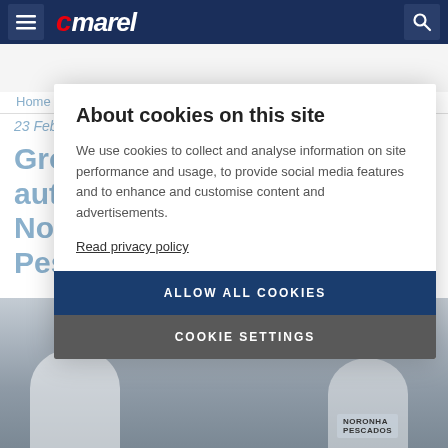Marel — navigation bar with hamburger menu, Marel logo, and search icon
Home > Customer Stories
23 Feb 2021
Growth through automation at Noronha Pescados
[Figure (photo): Photo of workers at a fish processing facility with Noronha Pescados branding visible on a shirt]
About cookies on this site
We use cookies to collect and analyse information on site performance and usage, to provide social media features and to enhance and customise content and advertisements.
Read privacy policy
ALLOW ALL COOKIES
COOKIE SETTINGS